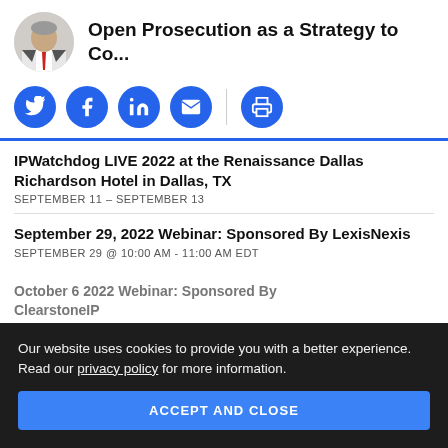Open Prosecution as a Strategy to Co...
[Figure (other): Social share icons: Twitter, Facebook, LinkedIn, Email, Print]
IPWatchdog LIVE 2022 at the Renaissance Dallas Richardson Hotel in Dallas, TX
SEPTEMBER 11 - SEPTEMBER 13
September 29, 2022 Webinar: Sponsored By LexisNexis
SEPTEMBER 29 @ 10:00 AM - 11:00 AM EDT
October 6 2022 Webinar: Sponsored By ClearstoneIP
Our website uses cookies to provide you with a better experience. Read our privacy policy for more information.
ACCEPT AND CLOSE